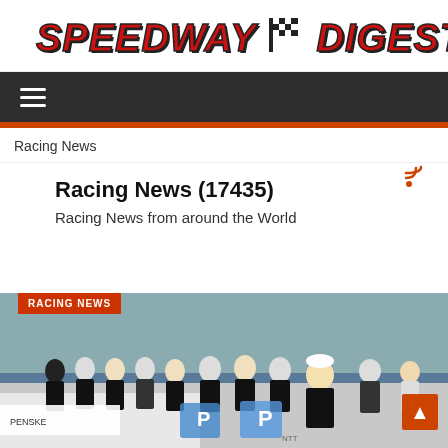[Figure (logo): Speedway Digest logo with checkered flag icon, red italic bold text on white background]
≡ (navigation menu bar)
Racing News
Racing News (17435)
Racing News from around the World
[Figure (photo): Group photo of racing team members in black uniforms standing together at a racing event, with blue Penske/NTT logos visible]